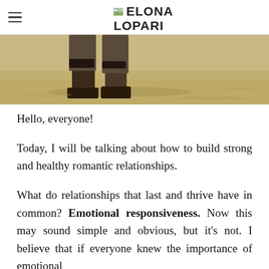ELONA LOPARI
[Figure (photo): Sepia-toned photo showing feet/shoes on sandy ground, partial lower body visible]
Hello, everyone!
Today, I will be talking about how to build strong and healthy romantic relationships.
What do relationships that last and thrive have in common? Emotional responsiveness. Now this may sound simple and obvious, but it's not. I believe that if everyone knew the importance of emotional